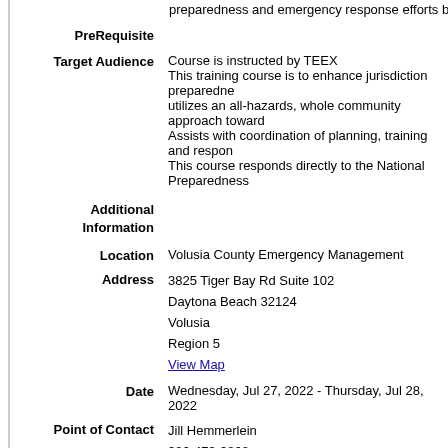preparedness and emergency response efforts by developin
PreRequisite
Target Audience
Course is instructed by TEEX
This training course is to enhance jurisdiction preparedne
utilizes an all-hazards, whole community approach toward
Assists with coordination of planning, training and respon
This course responds directly to the National Preparedness
Additional Information
Location
Volusia County Emergency Management
Address
3825 Tiger Bay Rd Suite 102
Daytona Beach 32124
Volusia
Region 5
View Map
Date
Wednesday, Jul 27, 2022 - Thursday, Jul 28, 2022
Point of Contact
Jill Hemmerlein
386-473-3868
jhemmerlein@volusia.org
More Info URL
Event Calendar
Download
Event Status
Completed